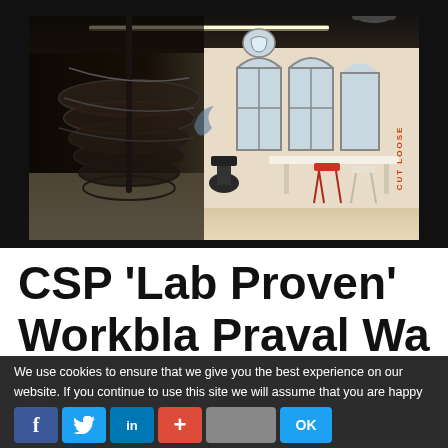[Figure (photo): Interior photo of a modern office/co-working space in a converted building. Prominent spiral metal staircase on the left, arched Gothic-style windows in the background letting in natural light, a white bar counter with red and white stools on the right. 'CUT LOOSE' text visible vertically on the right wall in orange. Black borders on sides. Linear LED lighting strip on the ceiling.]
CSP ‘Lab Proven’
We use cookies to ensure that we give you the best experience on our website. If you continue to use this site we will assume that you are happy